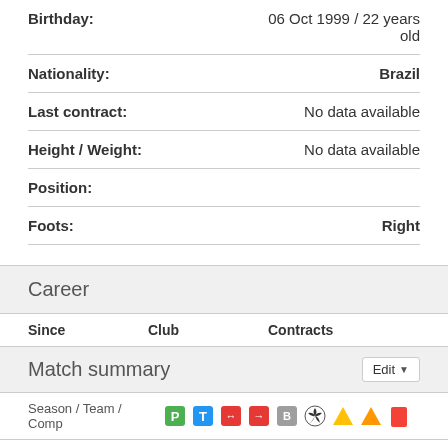Birthday: 06 Oct 1999 / 22 years old
Nationality: Brazil
Last contract: No data available
Height / Weight: No data available
Position:
Foots: Right
Career
| Since | Club | Contracts |
| --- | --- | --- |
Match summary
| Season / Team / Comp |  |  |  |  |  |  |  |  |
| --- | --- | --- | --- | --- | --- | --- | --- | --- |